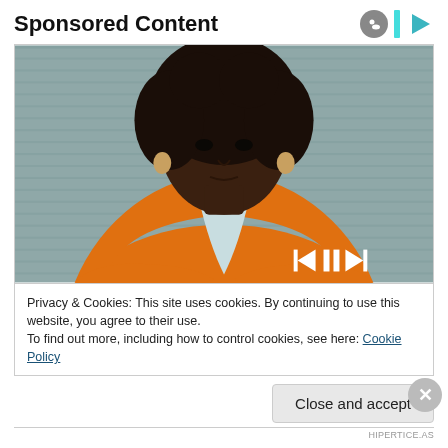Sponsored Content
[Figure (photo): A young Black woman in an orange blazer with arms crossed, standing against a grey background. Media player controls (skip back, pause, skip forward) visible at bottom right of image.]
Privacy & Cookies: This site uses cookies. By continuing to use this website, you agree to their use.
To find out more, including how to control cookies, see here: Cookie Policy
Close and accept
HIPERTICE.AS